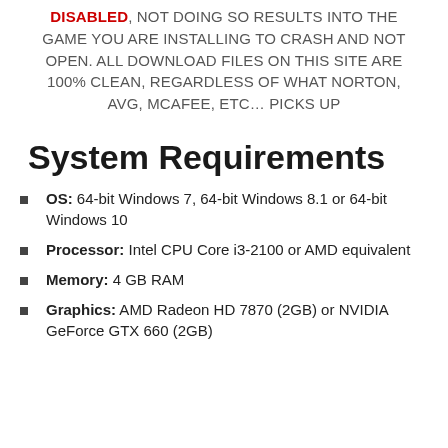NOTICE: MAKE SURE TO HAVE YOUR ANTIVIRUS DISABLED, NOT DOING SO RESULTS INTO THE GAME YOU ARE INSTALLING TO CRASH AND NOT OPEN. ALL DOWNLOAD FILES ON THIS SITE ARE 100% CLEAN, REGARDLESS OF WHAT NORTON, AVG, MCAFEE, ETC… PICKS UP
System Requirements
OS: 64-bit Windows 7, 64-bit Windows 8.1 or 64-bit Windows 10
Processor: Intel CPU Core i3-2100 or AMD equivalent
Memory: 4 GB RAM
Graphics: AMD Radeon HD 7870 (2GB) or NVIDIA GeForce GTX 660 (2GB)